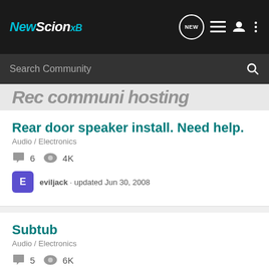NewScionxB
Search Community
Rear door speaker install. Need help.
Audio / Electronics
6 comments · 4K views
eviljack · updated Jun 30, 2008
Subtub
Audio / Electronics
5 comments · 6K views
ogerdgonz · updated Apr 19, 2011